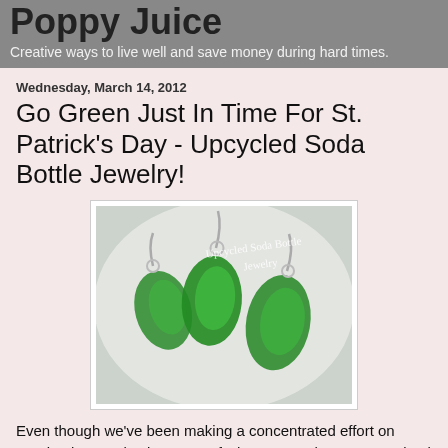Poppy Juice
Creative ways to live well and save money during hard times.
Wednesday, March 14, 2012
Go Green Just In Time For St. Patrick's Day - Upcycled Soda Bottle Jewelry!
[Figure (photo): Photo of green plastic soda bottle earrings on a light background, with text overlay reading 'Upcycled Soda Bottle Jewelry']
Even though we've been making a concentrated effort on wasting less and using more of what we purchase, I've noticed there are still far too many plastic bottles that come through our home.  Our trash service doesn't offer curbside pickup of our recycling and sometimes it is months before we